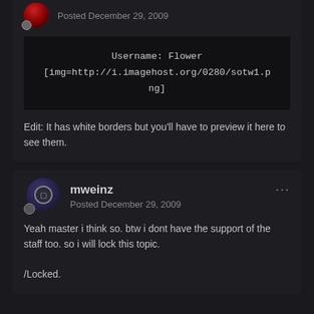Posted December 29, 2009
Username: Flower
[img=http://i.imagehost.org/0280/sotw1.png]
Edit: It has white borders but you'll have to preview it here to see them.
mweinz
Posted December 29, 2009
Yeah master i think so. btw i dont have the support of the staff too. so i will lock this topic.

/Locked.